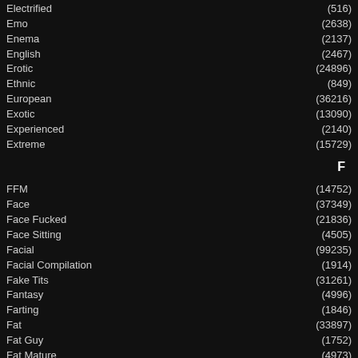Electrified (516)
Emo (2638)
Enema (2137)
English (2467)
Erotic (24896)
Ethnic (849)
European (36216)
Exotic (13090)
Experienced (2140)
Extreme (15729)
F
FFM (14752)
Face (37349)
Face Fucked (21836)
Face Sitting (4505)
Facial (99235)
Facial Compilation (1914)
Fake Tits (31261)
Fantasy (4996)
Farting (1846)
Fat (33897)
Fat Guy (1752)
Fat Mature (4973)
Fat Teen (18/19) (6812)
Feet (11750)
Femdom (21110)
Fetish (122291)
Fighting (1272)
Filipin (839)
Fingering (117308)